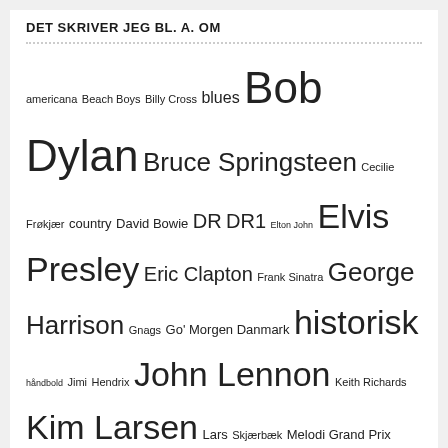DET SKRIVER JEG BL. A. OM
americana Beach Boys Billy Cross blues Bob Dylan Bruce Springsteen Cecilie Frøkjær country David Bowie DR DR1 Elton John Elvis Presley Eric Clapton Frank Sinatra George Harrison Gnags Go' Morgen Danmark historisk håndbold Jimi Hendrix John Lennon Keith Richards Kim Larsen Lars Skjærbæk Melodi Grand Prix Michael Falch Michael Jackson Morten Resen Motown Neil Young P1 Paul McCartney Paul Simon Rolling Stones Sebastian soul Steffen Brandt The Beatles Tim Christensen Torben Bille TV2 U2 Yeah Yeah Yeah Yoko Ono
SENESTE INDLÆG
[Figure (photo): Concert photo showing a performer singing on stage with dramatic orange/warm lighting and a microphone visible]